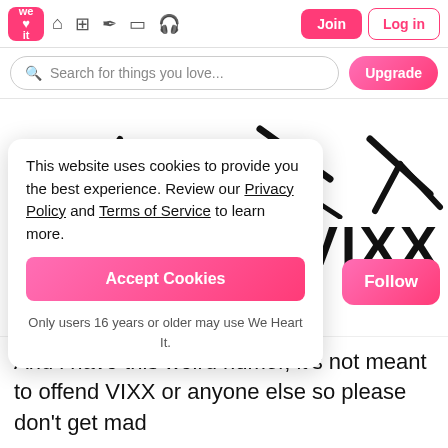we heart it navigation bar with Join, Log in, Upgrade buttons and search bar
[Figure (illustration): Partial hand-drawn sketch of figures in black ink on white background]
VIXX
re sensitive
Follow
boys so here we
This website uses cookies to provide you the best experience. Review our Privacy Policy and Terms of Service to learn more.
Accept Cookies
Only users 16 years or older may use We Heart It.
And i have this weird humor, it's not meant to offend VIXX or anyone else so please don't get mad